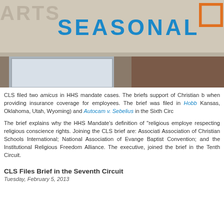[Figure (photo): Photograph of a building exterior showing 'SEASONAL' sign in blue letters and partial 'ARTS' text, with a white entrance door and brown wall visible.]
CLS filed two amicus in HHS mandate cases. The briefs support of Christian b when providing insurance coverage for employees. The brief was filed in Hobb Kansas, Oklahoma, Utah, Wyoming) and Autocam v. Sebelius in the Sixth Circ
The brief explains why the HHS Mandate's definition of "religious employe respecting religious conscience rights. Joining the CLS brief are: Associati Association of Christian Schools International; National Association of Evange Baptist Convention; and the Institutional Religious Freedom Alliance. The executive, joined the brief in the Tenth Circuit.
CLS Files Brief in the Seventh Circuit
Tuesday, February 5, 2013